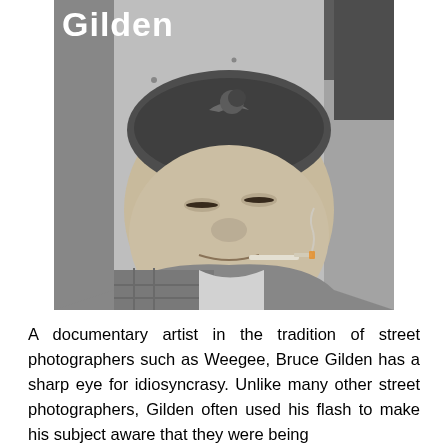[Figure (photo): Black and white street photograph of a heavyset Asian man wearing a bandana, smoking a cigarette, looking directly at the camera with squinted eyes. The word 'Gilden' appears in bold white text overlaid at the top left of the image.]
A documentary artist in the tradition of street photographers such as Weegee, Bruce Gilden has a sharp eye for idiosyncrasy. Unlike many other street photographers, Gilden often used his flash to make his subject aware that they were being